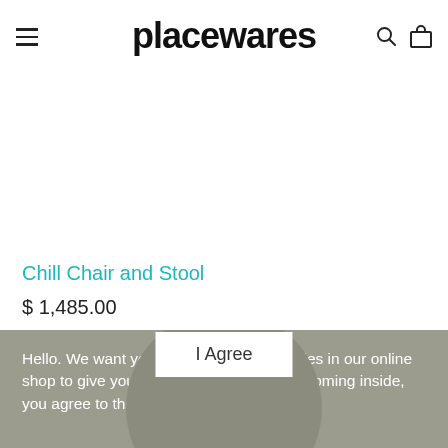placewares
Chill Chair and Stool
$ 1,485.00
Hello. We want you to know we use cookies in our online shop to give you the best experience. By coming inside, you agree to their usage. Welcome!
I Agree